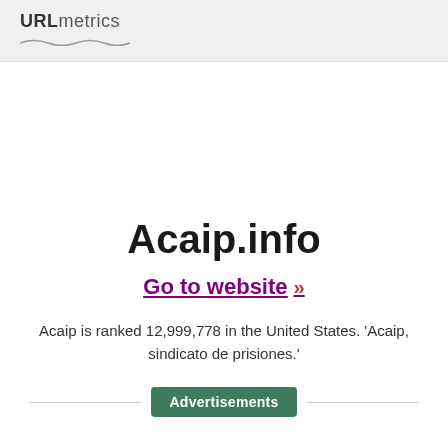URLmetrics
Acaip.info
Go to website >>
Acaip is ranked 12,999,778 in the United States. 'Acaip, sindicato de prisiones.'
Advertisements